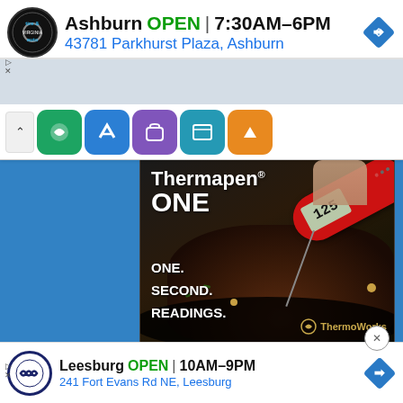Ashburn OPEN | 7:30AM–6PM
43781 Parkhurst Plaza, Ashburn
[Figure (screenshot): App icons bar showing chevron-up and 5 colored app icons (green, blue, purple, teal, orange)]
[Figure (photo): Thermapen ONE advertisement showing a red instant-read thermometer reading 125 degrees inserted into a steak in a cast iron skillet. Text reads: Thermapen ONE. ONE. SECOND. READINGS. ThermoWorks logo at bottom right.]
Leesburg OPEN | 10AM–9PM
241 Fort Evans Rd NE, Leesburg